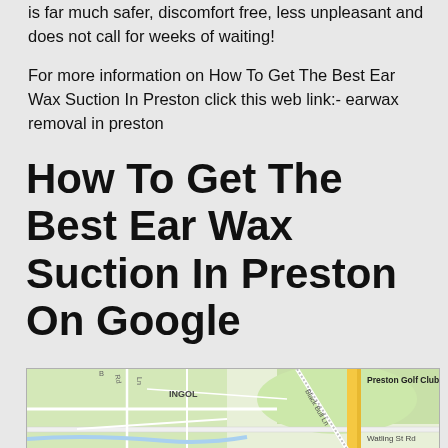is far much safer, discomfort free, less unpleasant and does not call for weeks of waiting!
For more information on How To Get The Best Ear Wax Suction In Preston click this web link:- earwax removal in preston
How To Get The Best Ear Wax Suction In Preston On Google
[Figure (map): Google Maps view showing the Ingol area of Preston, with Preston Golf Club visible in the top right, Watling St Rd label visible, and Black Bull Ln road, along with local streets and green areas.]